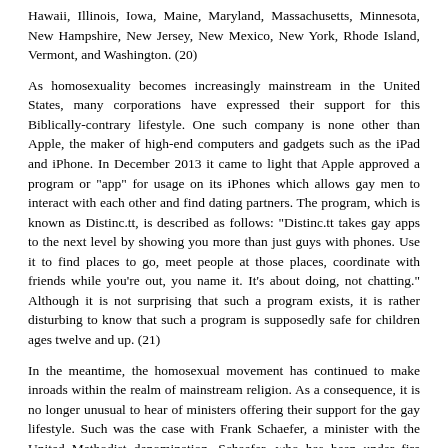Hawaii, Illinois, Iowa, Maine, Maryland, Massachusetts, Minnesota, New Hampshire, New Jersey, New Mexico, New York, Rhode Island, Vermont, and Washington. (20)
As homosexuality becomes increasingly mainstream in the United States, many corporations have expressed their support for this Biblically-contrary lifestyle. One such company is none other than Apple, the maker of high-end computers and gadgets such as the iPad and iPhone. In December 2013 it came to light that Apple approved a program or "app" for usage on its iPhones which allows gay men to interact with each other and find dating partners. The program, which is known as Distinc.tt, is described as follows: "Distinc.tt takes gay apps to the next level by showing you more than just guys with phones. Use it to find places to go, meet people at those places, coordinate with friends while you're out, you name it. It's about doing, not chatting." Although it is not surprising that such a program exists, it is rather disturbing to know that such a program is supposedly safe for children ages twelve and up. (21)
In the meantime, the homosexual movement has continued to make inroads within the realm of mainstream religion. As a consequence, it is no longer unusual to hear of ministers offering their support for the gay lifestyle. Such was the case with Frank Schaefer, a minister with the United Methodist denomination. Schaefer, who has been under fire since he officiated at his son's same-sex marriage in 2007, was finally defrocked by the denomination's officials on December 19, 2013. (22) However, numerous Methodist ministers have expressed their support for Schaefer, and in October 2013 it was announced that more than thirty such ministers were planning to perform same-sex wedding ceremonies in defiance of their organization's rules. (23)